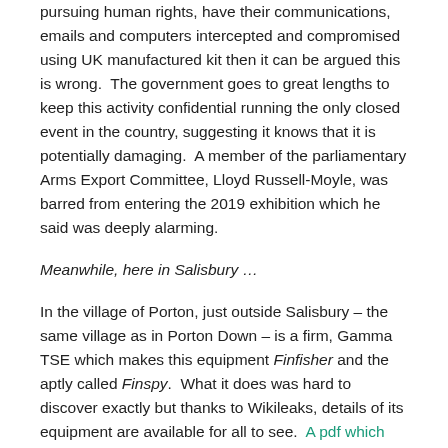pursuing human rights, have their communications, emails and computers intercepted and compromised using UK manufactured kit then it can be argued this is wrong.  The government goes to great lengths to keep this activity confidential running the only closed event in the country, suggesting it knows that it is potentially damaging.  A member of the parliamentary Arms Export Committee, Lloyd Russell-Moyle, was barred from entering the 2019 exhibition which he said was deeply alarming.
Meanwhile, here in Salisbury …
In the village of Porton, just outside Salisbury – the same village as in Porton Down – is a firm, Gamma TSE which makes this equipment Finfisher and the aptly called Finspy.  What it does was hard to discover exactly but thanks to Wikileaks, details of its equipment are available for all to see.  A pdf which provides comprehensive details of the firm's spying capabilities